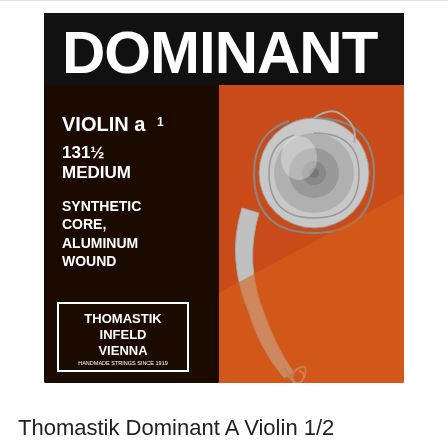[Figure (illustration): Product packaging for Thomastik Dominant A Violin 1/2 string. Black and orange/red packaging with large 'DOMINANT' text at top. Left side black panel shows 'VIOLIN a1', '131½ MEDIUM', 'SYNTHETIC CORE, ALUMINUM WOUND'. Bottom left has Thomastik Infeld Vienna logo. Right side shows silver/metallic violin scroll illustration on orange-red background.]
Thomastik Dominant A Violin 1/2